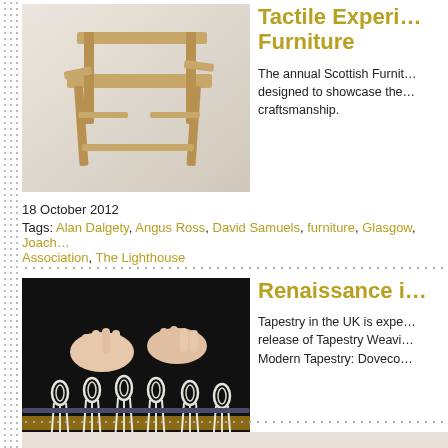[Figure (photo): Wooden chair with angular joinery design, light wood, photographed against white background]
Tactile Experi… Furniture
The annual Scottish Furnit… designed to showcase the… craftsmanship.
18 October 2012
Tags: Alan Dalgety, Angus Ross, David Samuels, furniture, Glasgow, Joach… Association, The Lighthouse
[Figure (photo): Close-up of hands working white cord/yarn on a loom with wooden pegs, creating a knotted textile pattern]
Renaissance i…
Tapestry in the UK is expe… release of Tapestry Weavi… Modern Tapestry: Doveco…
8 September 2012